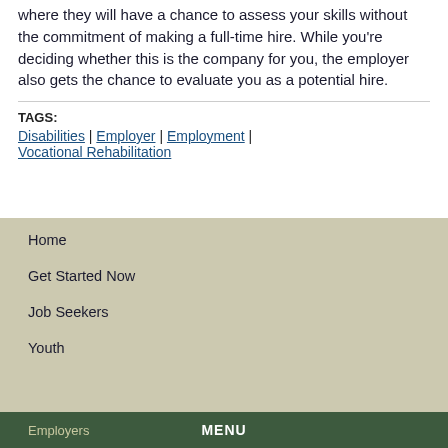where they will have a chance to assess your skills without the commitment of making a full-time hire. While you're deciding whether this is the company for you, the employer also gets the chance to evaluate you as a potential hire.
TAGS: Disabilities | Employer | Employment | Vocational Rehabilitation
Home
Get Started Now
Job Seekers
Youth
Employers   MENU